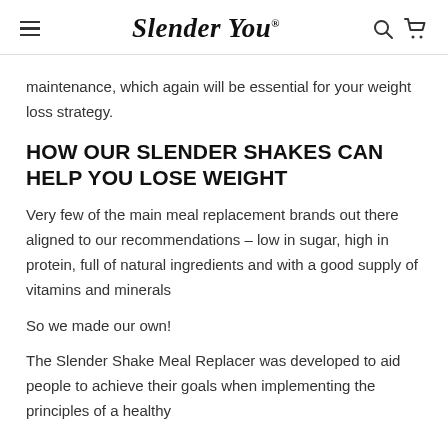Slender You
maintenance, which again will be essential for your weight loss strategy.
HOW OUR SLENDER SHAKES CAN HELP YOU LOSE WEIGHT
Very few of the main meal replacement brands out there aligned to our recommendations – low in sugar, high in protein, full of natural ingredients and with a good supply of vitamins and minerals
So we made our own!
The Slender Shake Meal Replacer was developed to aid people to achieve their goals when implementing the principles of a healthy